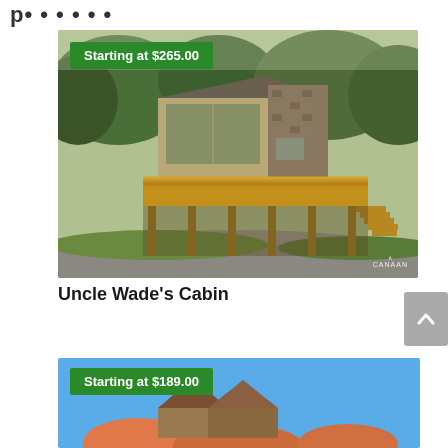p...
[Figure (photo): Exterior photo of Uncle Wade's Cabin showing a two-story wood and stone structure with a large deck on stilts, surrounded by trees. Green banner overlay reads 'Starting at $265.00'. CANAAN watermark in bottom right.]
Uncle Wade's Cabin
[Figure (photo): Partial view of a second cabin listing with blue sky background. Green banner overlay reads 'Starting at $189.00'.]